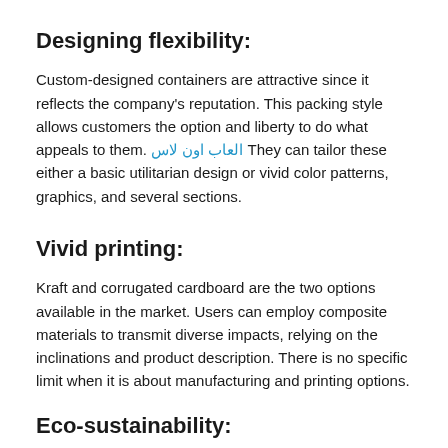Designing flexibility:
Custom-designed containers are attractive since it reflects the company's reputation. This packing style allows customers the option and liberty to do what appeals to them. العاب اون لاس They can tailor these either a basic utilitarian design or vivid color patterns, graphics, and several sections.
Vivid printing:
Kraft and corrugated cardboard are the two options available in the market. Users can employ composite materials to transmit diverse impacts, relying on the inclinations and product description. There is no specific limit when it is about manufacturing and printing options.
Eco-sustainability: